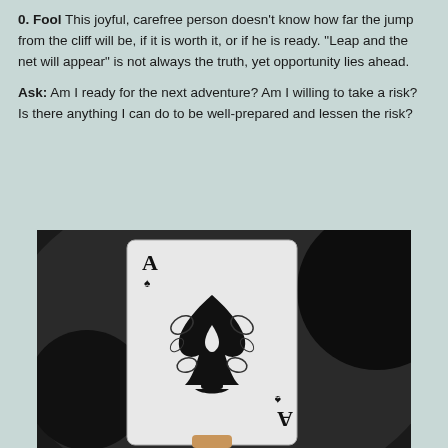0. Fool This joyful, carefree person doesn't know how far the jump from the cliff will be, if it is worth it, or if he is ready. "Leap and the net will appear" is not always the truth, yet opportunity lies ahead.
Ask: Am I ready for the next adventure? Am I willing to take a risk? Is there anything I can do to be well-prepared and lessen the risk?
[Figure (photo): A photograph of an Ace of Spades playing card held up against a dark blurred background. The card features an ornate decorative spade design with floral and skull motifs.]